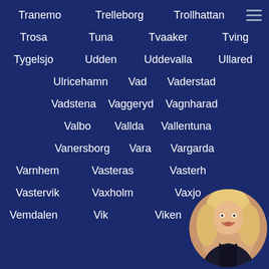Tranemo   Trelleborg   Trollhattan
Trosa   Tuna   Tvaaker   Tving
Tygelsjo   Udden   Uddevalla   Ullared
Ulricehamn   Vad   Vaderstad
Vadstena   Vaggeryd   Vagnharad
Valbo   Vallda   Vallentuna
Vanersborg   Vara   Vargarda
Varnhem   Vasteras   Vasterh...
Vastervik   Vaxholm   Vaxjo
Vemdalen   Vik   Viken   Vi...
[Figure (photo): Circular avatar image of a blonde woman in the bottom-right corner of the page]